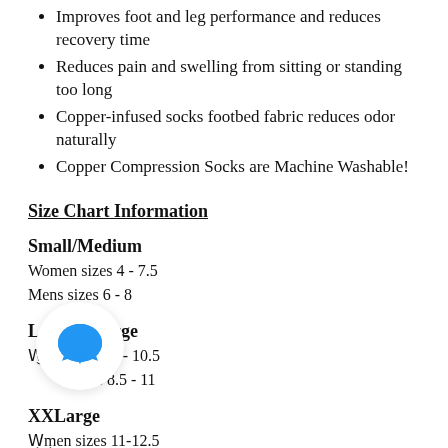Improves foot and leg performance and reduces recovery time
Reduces pain and swelling from sitting or standing too long
Copper-infused socks footbed fabric reduces odor naturally
Copper Compression Socks are Machine Washable!
Size Chart Information
Small/Medium
Women sizes 4 - 7.5
Mens sizes  6 - 8
Large/XLarge
Women sizes 8 - 10.5
sizes 8.5 - 11
XXLarge
Women sizes 11-12.5